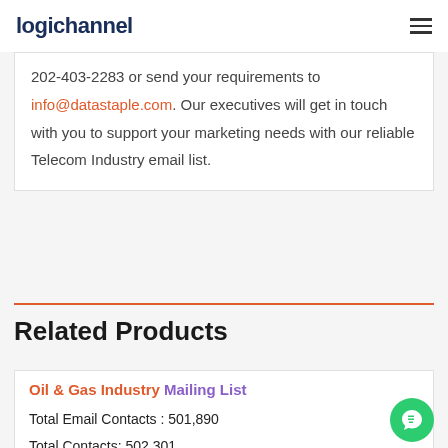logichannel
202-403-2283 or send your requirements to info@datastaple.com. Our executives will get in touch with you to support your marketing needs with our reliable Telecom Industry email list.
Related Products
Oil & Gas Industry Mailing List
Total Email Contacts : 501,890
Total Contacts: 502,301